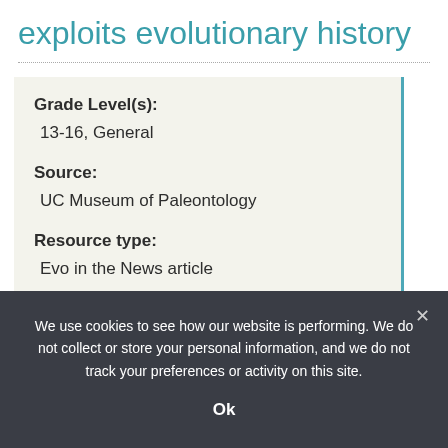exploits evolutionary history
Grade Level(s):
13-16, General
Source:
UC Museum of Paleontology
Resource type:
Evo in the News article
We use cookies to see how our website is performing. We do not collect or store your personal information, and we do not track your preferences or activity on this site.
Ok